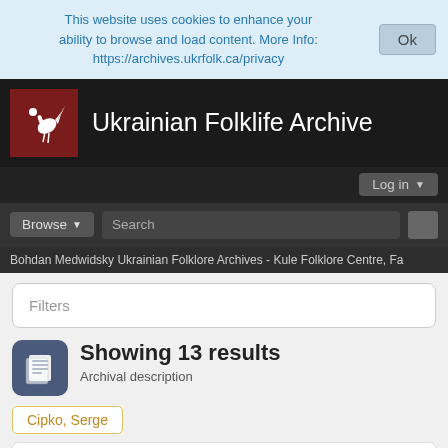This website uses cookies to enhance your ability to browse and load content. More Info: https://archives.ukrfolk.ca/privacy
Ukrainian Folklife Archive
Log in
Browse  Search
Bohdan Medwidsky Ukrainian Folklore Archives - Kule Folklore Centre, Fa
Filters
Showing 13 results
Archival description
Cipko, Serge